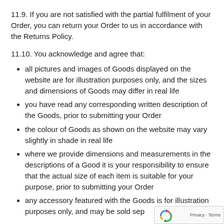11.9. If you are not satisfied with the partial fulfilment of your Order, you can return your Order to us in accordance with the Returns Policy.
11.10. You acknowledge and agree that:
all pictures and images of Goods displayed on the website are for illustration purposes only, and the sizes and dimensions of Goods may differ in real life
you have read any corresponding written description of the Goods, prior to submitting your Order
the colour of Goods as shown on the website may vary slightly in shade in real life
where we provide dimensions and measurements in the descriptions of a Good it is your responsibility to ensure that the actual size of each item is suitable for your purpose, prior to submitting your Order
any accessory featured with the Goods is for illustration purposes only, and may be sold sep...